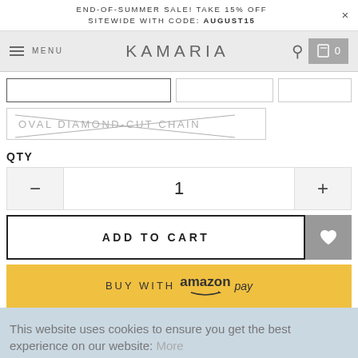END-OF-SUMMER SALE! TAKE 15% OFF SITEWIDE WITH CODE: AUGUST15
[Figure (screenshot): Kamaria e-commerce navigation bar with hamburger menu, KAMARIA logo, search icon, and cart icon showing 0 items]
[Figure (screenshot): Product option selector buttons (3 unfilled boxes) and an Oval Diamond-Cut Chain option with X mark through it]
QTY
[Figure (screenshot): Quantity stepper UI with minus button, value 1, and plus button]
[Figure (screenshot): ADD TO CART button with wishlist heart button]
[Figure (screenshot): BUY WITH amazon pay button in yellow]
This website uses cookies to ensure you get the best experience on our website: More
[Figure (screenshot): ACCEPT button for cookie consent]